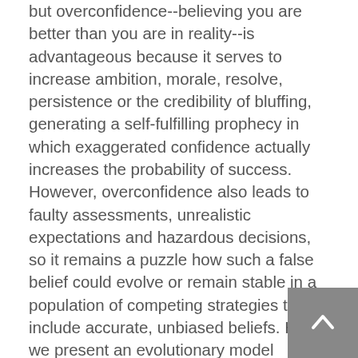but overconfidence--believing you are better than you are in reality--is advantageous because it serves to increase ambition, morale, resolve, persistence or the credibility of bluffing, generating a self-fulfilling prophecy in which exaggerated confidence actually increases the probability of success. However, overconfidence also leads to faulty assessments, unrealistic expectations and hazardous decisions, so it remains a puzzle how such a false belief could evolve or remain stable in a population of competing strategies that include accurate, unbiased beliefs. Here we present an evolutionary model showing that, counterintuitively, overconfidence maximizes individual fitness and populations tend to become overconfident, as long as benefits from contested resources are sufficiently large compared with the cost of competition. In contrast, unbiased strategies are only stable under